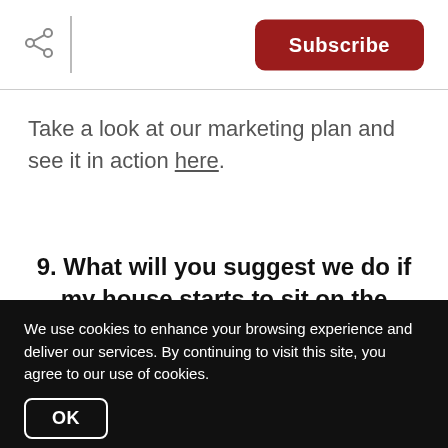[Figure (other): Share icon (network/share symbol) in grey]
Subscribe
Take a look at our marketing plan and see it in action here.
9. What will you suggest we do if my house starts to sit on the market?
We use cookies to enhance your browsing experience and deliver our services. By continuing to visit this site, you agree to our use of cookies.
OK